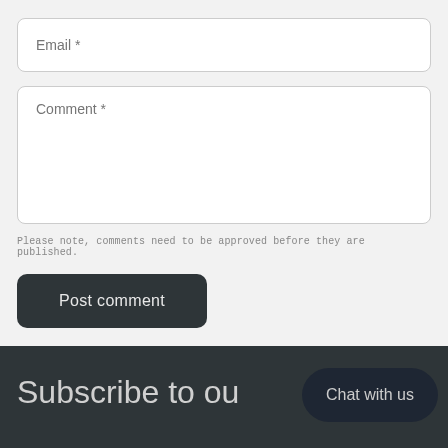Email *
Comment *
Please note, comments need to be approved before they are published.
Post comment
Subscribe to ou
Chat with us